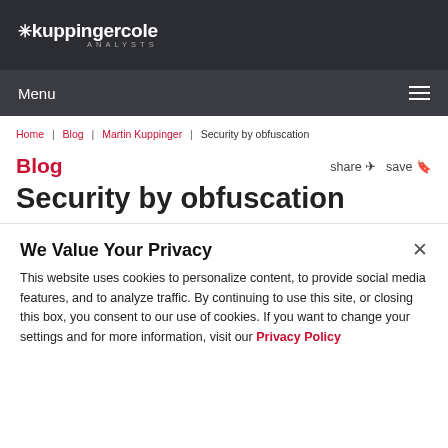KuppingerCole Analysts
Menu
Home | Blog | Martin Kuppinger | Security by obfuscation
Blog
Security by obfuscation
We Value Your Privacy
This website uses cookies to personalize content, to provide social media features, and to analyze traffic. By continuing to use this site, or closing this box, you consent to our use of cookies. If you want to change your settings and for more information, visit our Privacy Policy